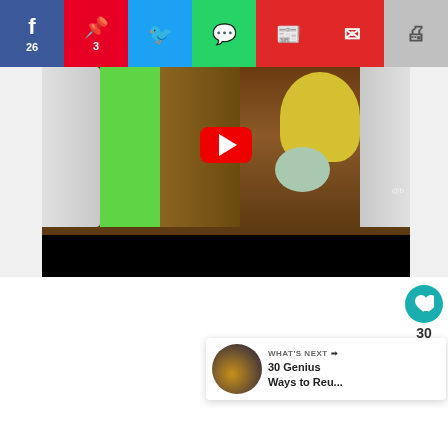[Figure (screenshot): Social media share bar with Facebook (26), Pinterest (3), Twitter, WhatsApp, Flipboard, Email, and Print buttons]
[Figure (screenshot): YouTube video thumbnail showing craft items including green tape, a yellow stuffed animal figure on a wooden background with white diapers. A red YouTube play button is centered on the video.]
[Figure (screenshot): Side action panel with teal heart/like button, count of 30, and a share button. Below is a 'What's Next' widget showing '30 Genius Ways to Reu...' with a thumbnail image.]
30
WHAT'S NEXT →
30 Genius Ways to Reu...